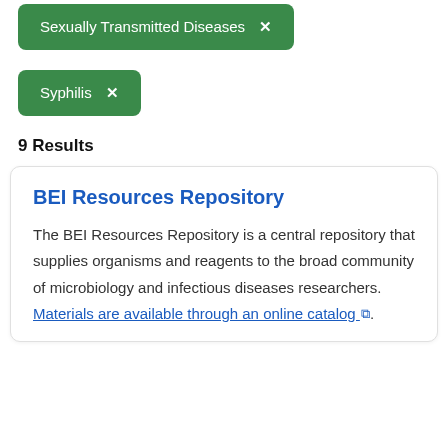Sexually Transmitted Diseases ×
Syphilis ×
9 Results
BEI Resources Repository
The BEI Resources Repository is a central repository that supplies organisms and reagents to the broad community of microbiology and infectious diseases researchers. Materials are available through an online catalog.